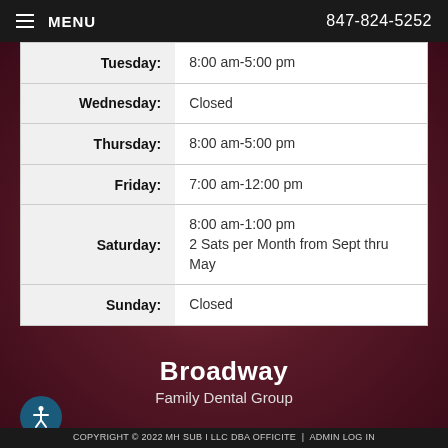MENU  847-824-5252
| Day | Hours |
| --- | --- |
| Tuesday: | 8:00 am-5:00 pm |
| Wednesday: | Closed |
| Thursday: | 8:00 am-5:00 pm |
| Friday: | 7:00 am-12:00 pm |
| Saturday: | 8:00 am-1:00 pm
2 Sats per Month from Sept thru May |
| Sunday: | Closed |
Broadway
Family Dental Group
COPYRIGHT © 2022 MH SUB I LLC DBA OFFICITE  |  ADMIN LOG IN